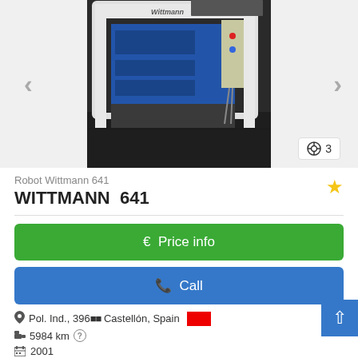[Figure (photo): Industrial robot machine photo - Wittmann 641, white framed machine with blue components and control panel visible, viewed from front-side angle in factory setting]
Robot Wittmann 641
WITTMANN  641
€ Price info
✆ Call
Pol. Ind., 396... Castellón, Spain
5984 km
2001
Save search query